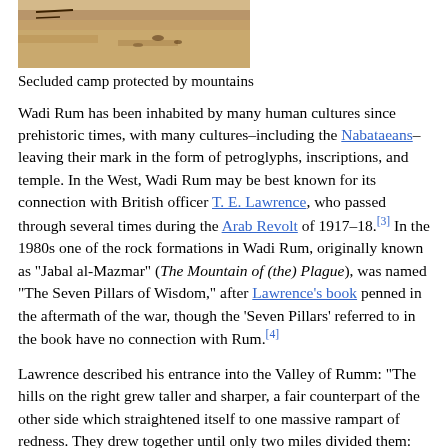[Figure (photo): Aerial or ground-level photo of a secluded desert camp area with sandy terrain and rocky mountains in the background]
Secluded camp protected by mountains
Wadi Rum has been inhabited by many human cultures since prehistoric times, with many cultures–including the Nabataeans–leaving their mark in the form of petroglyphs, inscriptions, and temple. In the West, Wadi Rum may be best known for its connection with British officer T. E. Lawrence, who passed through several times during the Arab Revolt of 1917–18.[3] In the 1980s one of the rock formations in Wadi Rum, originally known as "Jabal al-Mazmar" (The Mountain of (the) Plague), was named "The Seven Pillars of Wisdom," after Lawrence's book penned in the aftermath of the war, though the 'Seven Pillars' referred to in the book have no connection with Rum.[4]
Lawrence described his entrance into the Valley of Rumm: "The hills on the right grew taller and sharper, a fair counterpart of the other side which straightened itself to one massive rampart of redness. They drew together until only two miles divided them: and then, towering gradually till their parallel parapets must have been a thousand feet above us, ran forward in an avenue for miles. The crags were capped in nests of domes, less hotly red than the body of the hill; rather grey and shallow. They gave the finishing semblance of Byzantine architecture to this irresistible place: this